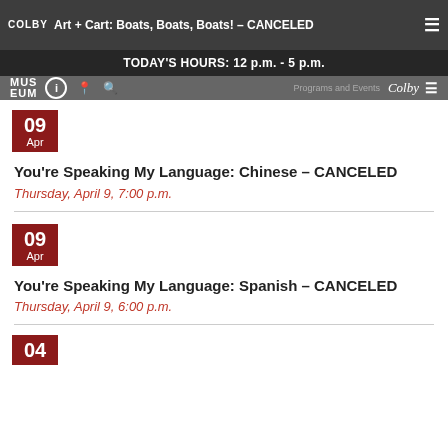Art + Cart: Boats, Boats, Boats! – CANCELED | TODAY'S HOURS: 12 p.m. - 5 p.m. | Colby Museum of Art | Programs and Events
09 Apr — You're Speaking My Language: Chinese – CANCELED
Thursday, April 9, 7:00 p.m.
09 Apr — You're Speaking My Language: Spanish – CANCELED
Thursday, April 9, 6:00 p.m.
04